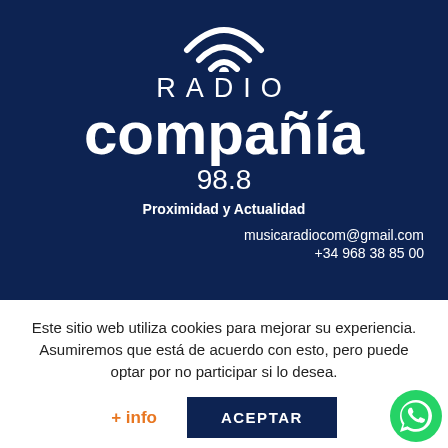[Figure (logo): Radio Compañía 98.8 logo with WiFi icon on dark navy blue background]
musicaradiocom@gmail.com
+34 968 38 85 00
Este sitio web utiliza cookies para mejorar su experiencia. Asumiremos que está de acuerdo con esto, pero puede optar por no participar si lo desea.
+ info
ACEPTAR